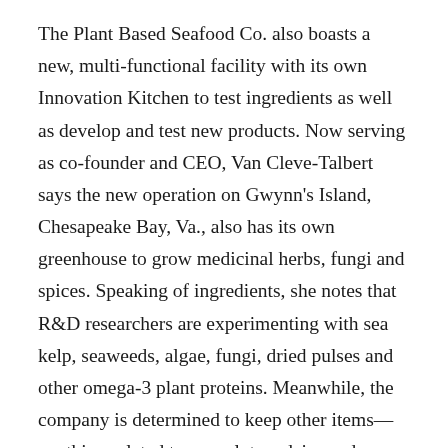The Plant Based Seafood Co. also boasts a new, multi-functional facility with its own Innovation Kitchen to test ingredients as well as develop and test new products. Now serving as co-founder and CEO, Van Cleve-Talbert says the new operation on Gwynn's Island, Chesapeake Bay, Va., also has its own greenhouse to grow medicinal herbs, fungi and spices. Speaking of ingredients, she notes that R&D researchers are experimenting with sea kelp, seaweeds, algae, fungi, dried pulses and other omega-3 plant proteins. Meanwhile, the company is determined to keep other items—anything related to soy, gluten, dairy and corn—completely off of ingredient labels.
Today's line includes Mind Blown Dusted Shrimp, Naked Shrimp, Crab-like Crab Cakes, Crunchy Coconut Shrimp and